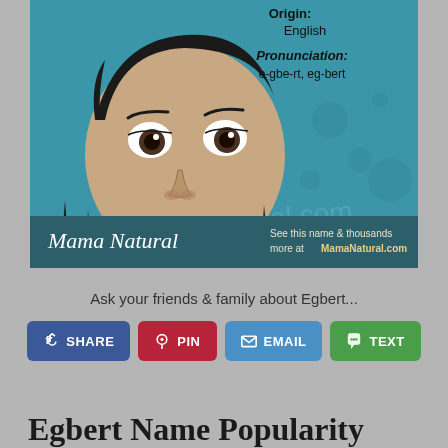[Figure (illustration): Illustration of a baby face on a teal/blue background with Mama Natural branding. Top right shows Origin: English and Pronunciation: e-gbe-rt, eg-bert. Bottom bar has Mama Natural logo and text 'See this name & thousands more at MamaNatural.com']
Ask your friends & family about Egbert...
SHARE   PIN   EMAIL   TEXT
Egbert Name Popularity